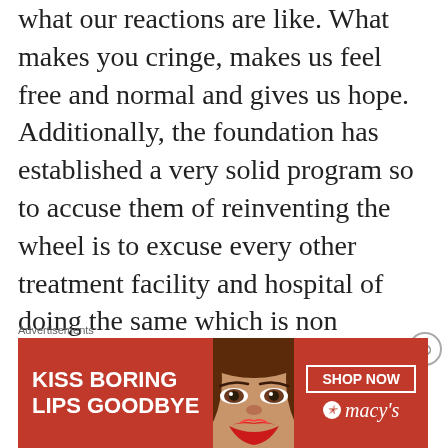what our reactions are like. What makes you cringe, makes us feel free and normal and gives us hope. Additionally, the foundation has established a very solid program so to accuse them of reinventing the wheel is to excuse every other treatment facility and hospital of doing the same which is non sensical. It's their foundation, they get to choose how to use the funds to help survivors and they have had input and advisors that
Advertisements
[Figure (photo): Advertisement banner for Macy's lipstick promotion. Red background with white bold text reading 'KISS BORING LIPS GOODBYE', a photo of a woman's face with red lipstick, a 'SHOP NOW' button with border, and the Macy's logo with star.]